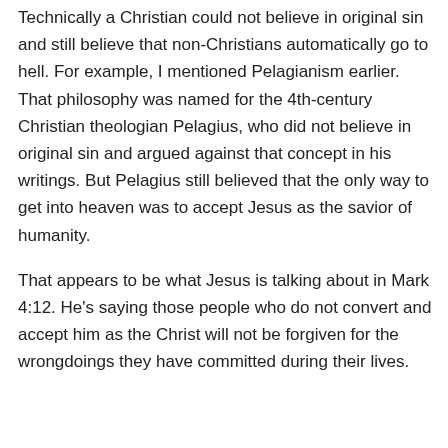Technically a Christian could not believe in original sin and still believe that non-Christians automatically go to hell. For example, I mentioned Pelagianism earlier. That philosophy was named for the 4th-century Christian theologian Pelagius, who did not believe in original sin and argued against that concept in his writings. But Pelagius still believed that the only way to get into heaven was to accept Jesus as the savior of humanity.
That appears to be what Jesus is talking about in Mark 4:12. He's saying those people who do not convert and accept him as the Christ will not be forgiven for the wrongdoings they have committed during their lives.